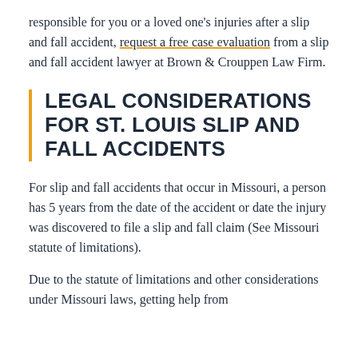responsible for you or a loved one's injuries after a slip and fall accident, request a free case evaluation from a slip and fall accident lawyer at Brown & Crouppen Law Firm.
LEGAL CONSIDERATIONS FOR ST. LOUIS SLIP AND FALL ACCIDENTS
For slip and fall accidents that occur in Missouri, a person has 5 years from the date of the accident or date the injury was discovered to file a slip and fall claim (See Missouri statute of limitations).
Due to the statute of limitations and other considerations under Missouri laws, getting help from